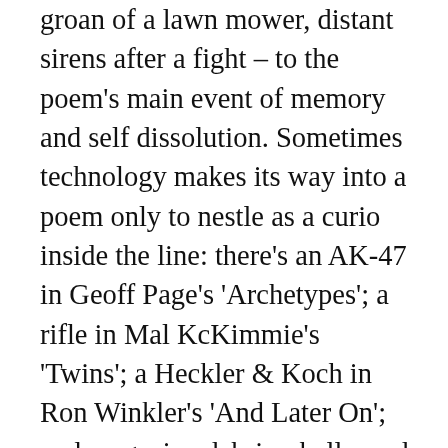groan of a lawn mower, distant sirens after a fight – to the poem's main event of memory and self dissolution. Sometimes technology makes its way into a poem only to nestle as a curio inside the line: there's an AK-47 in Geoff Page's 'Archetypes'; a rifle in Mal KcKimmie's 'Twins'; a Heckler & Koch in Ron Winkler's 'And Later On'; and magazine debris, shells, and shrapnel in Sudeep Sen's stunning